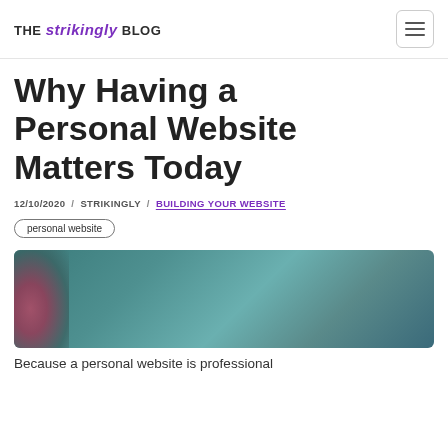THE strikingly BLOG
Why Having a Personal Website Matters Today
12/10/2020 / STRIKINGLY / BUILDING YOUR WEBSITE
personal website
[Figure (photo): Blurred teal and green abstract hero image with a pinkish/red bloom on the left side]
Because a personal website is professional